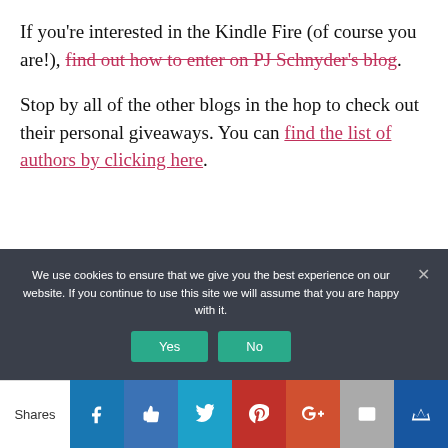If you're interested in the Kindle Fire (of course you are!), find out how to enter on PJ Schnyder's blog.
Stop by all of the other blogs in the hop to check out their personal giveaways. You can find the list of authors by clicking here.
We use cookies to ensure that we give you the best experience on our website. If you continue to use this site we will assume that you are happy with it.
Shares